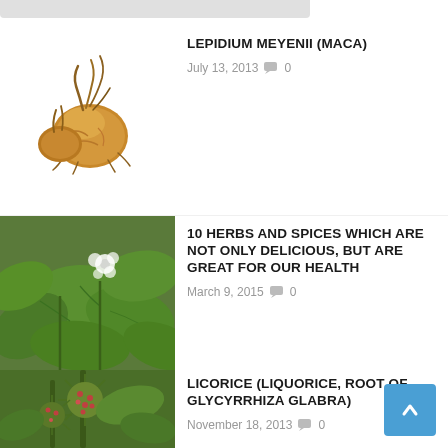[Figure (photo): Gray bar at top of page (partial UI element)]
LEPIDIUM MEYENII (MACA)
July 13, 2013  💬 0
[Figure (photo): Photo of maca root - tan/golden bulbous root vegetable]
[Figure (photo): Photo of herb plant with large green leaves and small white flower]
10 HERBS AND SPICES WHICH ARE NOT ONLY DELICIOUS, BUT ARE GREAT FOR OUR HEALTH
March 9, 2015  💬 0
[Figure (photo): Photo of licorice/glycyrrhiza glabra plant with spiky red-green seed pods]
LICORICE (LIQUORICE, ROOT OF GLYCYRRHIZA GLABRA)
November 18, 2013  💬 0